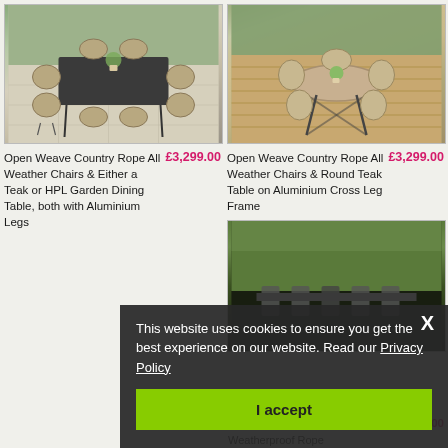[Figure (photo): Outdoor dining set with rectangular dark table and wicker/rope chairs with aluminium legs on patio]
[Figure (photo): Outdoor dining set with round teak table on aluminium cross leg frame and rope chairs on wooden deck]
Open Weave Country Rope All Weather Chairs & Either a Teak or HPL Garden Dining Table, both with Aluminium Legs
£3,299.00
Open Weave Country Rope All Weather Chairs & Round Teak Table on Aluminium Cross Leg Frame
£3,299.00
[Figure (photo): Modern garden dining set partially visible, dark background with green hedge]
Modern Garden Dining Sets with Weatherproof Rope
£3,179.00
This website uses cookies to ensure you get the best experience on our website. Read our Privacy Policy
I accept